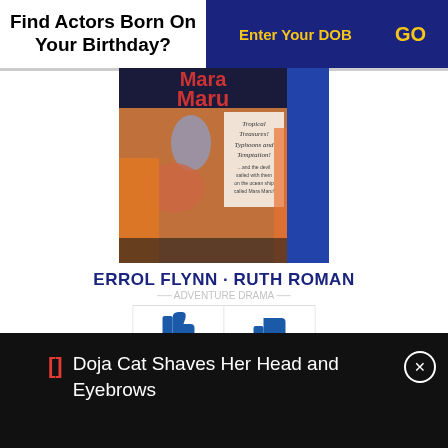Find Actors Born On Your Birthday?
Enter Your DOB
GO
[Figure (photo): Movie poster for 'Mara Maru' featuring Errol Flynn and Ruth Roman with text: Tropical Treasures! Typhoons and Temptation! ...and the devil sailed with them on the ocean ship called Mara Maru!]
ERROL FLYNN · RUTH ROMAN
6
4
Doja Cat Shaves Her Head and Eyebrows